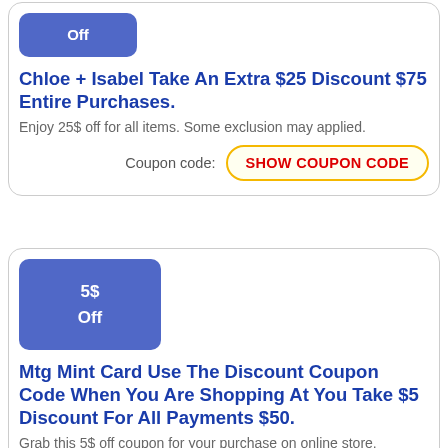[Figure (other): Blue badge with text 'Off']
Chloe + Isabel Take An Extra $25 Discount $75 Entire Purchases.
Enjoy 25$ off for all items. Some exclusion may applied.
Coupon code: SHOW COUPON CODE
[Figure (other): Blue badge with text '5$ Off']
Mtg Mint Card Use The Discount Coupon Code When You Are Shopping At You Take $5 Discount For All Payments $50.
Grab this 5$ off coupon for your purchase on online store.